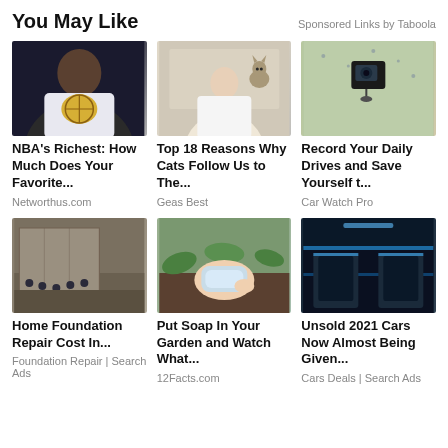You May Like
Sponsored Links by Taboola
[Figure (photo): Large muscular man holding a basketball wearing an NBA jersey]
NBA's Richest: How Much Does Your Favorite...
Networthus.com
[Figure (photo): Man smiling in bathroom with a cat on his shoulder near mirror]
Top 18 Reasons Why Cats Follow Us to The...
Geas Best
[Figure (photo): Dashboard camera mounted on car windshield in rain]
Record Your Daily Drives and Save Yourself t...
Car Watch Pro
[Figure (photo): Home foundation repair work showing foundation wall with equipment]
Home Foundation Repair Cost In...
Foundation Repair | Search Ads
[Figure (photo): Hand holding a bar of soap over garden soil with plants]
Put Soap In Your Garden and Watch What...
12Facts.com
[Figure (photo): Interior of a vehicle with blue lighting showing luxury car interior]
Unsold 2021 Cars Now Almost Being Given...
Cars Deals | Search Ads